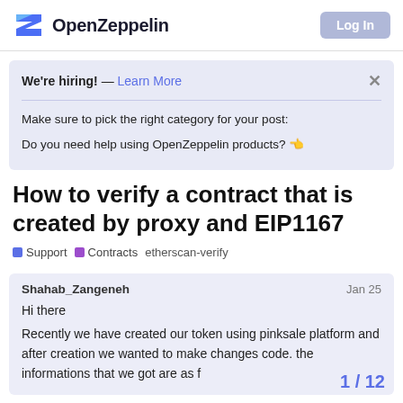OpenZeppelin
We're hiring! — Learn More
Make sure to pick the right category for your post:

Do you need help using OpenZeppelin products? 👈
How to verify a contract that is created by proxy and EIP1167
Support   Contracts   etherscan-verify
Shahab_Zangeneh   Jan 25
Hi there
Recently we have created our token using pinksale platform and after creation we wanted to make changes code. the informations that we got are as f
1 / 12